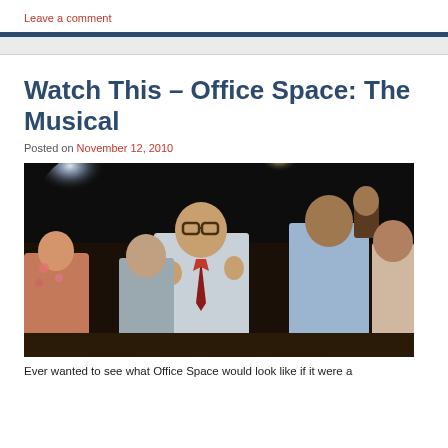Leave a comment
Watch This – Office Space: The Musical
Posted on November 12, 2010
[Figure (photo): Stage performance photo showing actors in office attire celebrating, with stage lighting in background]
Ever wanted to see what Office Space would look like if it were a